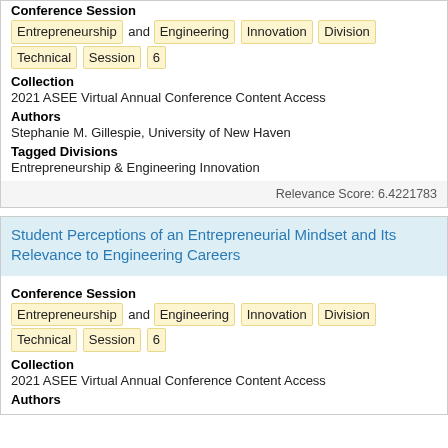Conference Session
Entrepreneurship and Engineering Innovation Division Technical Session 6
Collection
2021 ASEE Virtual Annual Conference Content Access
Authors
Stephanie M. Gillespie, University of New Haven
Tagged Divisions
Entrepreneurship & Engineering Innovation
Relevance Score: 6.4221783
Student Perceptions of an Entrepreneurial Mindset and Its Relevance to Engineering Careers
Conference Session
Entrepreneurship and Engineering Innovation Division Technical Session 6
Collection
2021 ASEE Virtual Annual Conference Content Access
Authors